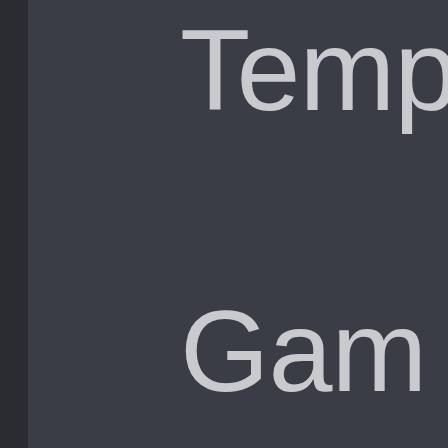[Figure (screenshot): Dark UI screenshot showing partial large text: 'Temp', 'Gam', 'wann' on a dark gray background with a dark left sidebar border.]